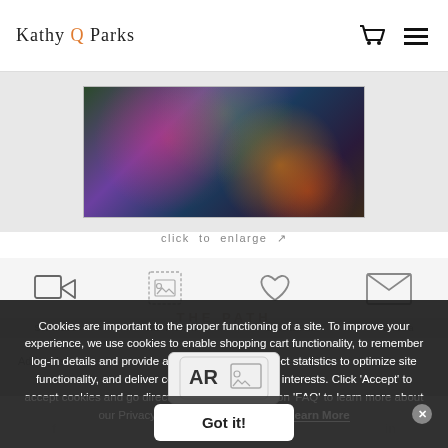Kathy Q Parks
[Figure (photo): Colorful mixed media artwork showing abstract figures with floral and garden elements in rich purples, greens, and oranges]
click to enlarge ↗
[Figure (other): Row of four icons: video camera, photo/wall art, heart (save to favorites), envelope (email)]
Cookies are important to the proper functioning of a site. To improve your experience, we use cookies to enable shopping cart functionality, to remember log-in details and provide a secure log-in, to collect statistics to optimize site functionality, and deliver content tailored to your interests. Click 'Accept' to accept cookies and go directly to the site, or click on 'FAQ' to learn more about our Privacy Policy before accepting. Learn More
Got it!